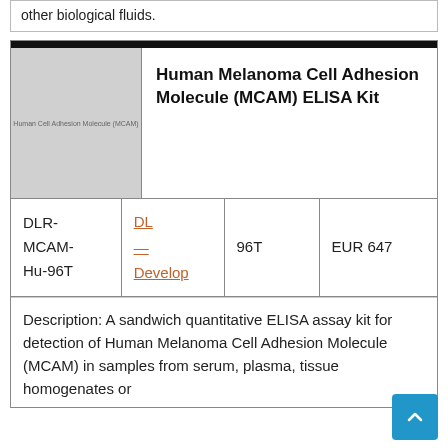other biological fluids.
[Figure (photo): Product image placeholder for Human Melanoma Cell Adhesion Molecule (MCAM) ELISA Kit. Gray placeholder box with small text label.]
Human Melanoma Cell Adhesion Molecule (MCAM) ELISA Kit
|  |  |  |  |
| --- | --- | --- | --- |
| DLR-MCAM-Hu-96T | DL Develop | 96T | EUR 647 |
Description: A sandwich quantitative ELISA assay kit for detection of Human Melanoma Cell Adhesion Molecule (MCAM) in samples from serum, plasma, tissue homogenates or